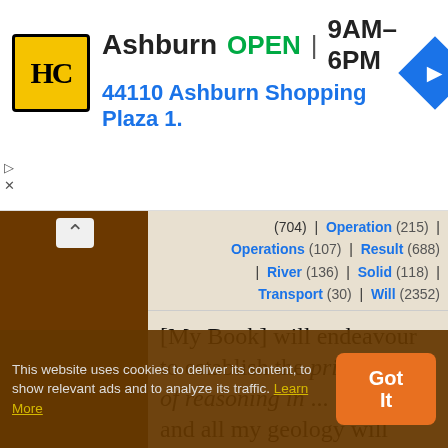[Figure (screenshot): Ad banner for Hashim's Coins store in Ashburn, showing logo, OPEN status, hours 9AM-6PM, address 44110 Ashburn Shopping Plaza 1., and navigation icon]
(704) | Operation (215) | Operations (107) | Result (688) | River (136) | Solid (118) | Transport (30) | Will (2352)
[My Book] will endeavour to establish the principle[s] of reasoning in ... [geology]; and all my geology will come in as illustration of my views of those principles, and as evidence strengthening the system necessarily arising out of the admission of such
This website uses cookies to deliver its content, to show relevant ads and to analyze its traffic. Learn More